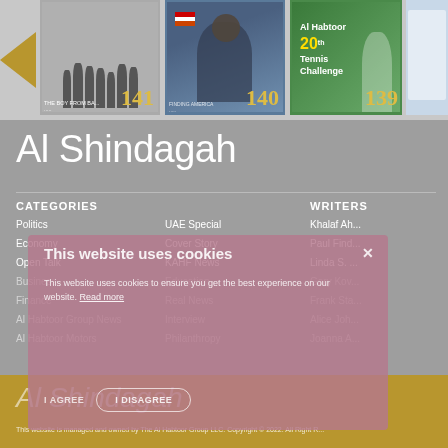[Figure (screenshot): Top strip showing magazine covers numbered 141, 140, 139 with a left navigation arrow. Cover 141 shows black-and-white group photo, 140 shows a man at podium with flag, 139 shows Al Habtoor Tennis Challenge green cover.]
Al Shindagah
CATEGORIES
Politics
UAE Special
Economy
Cover Story
Open Talk
KAHF News
Business
Education
Finance
Real News
Al Habtoor Group News
Interview
Al Habtoor Motors
Philanthropy
WRITERS
Khalaf Ah...
Paul Find...
Linda S. ...
Gary Kov...
Frank Sta...
Alice Joh...
Joanna A...
[Figure (screenshot): Cookie consent overlay with title 'This website uses cookies', body text 'This website uses cookies to ensure you get the best experience on our website. Read more', and two buttons: 'I AGREE' and 'I DISAGREE'.]
Al Shindagah
This website is managed and owned by The Al Habtoor Group LLC. Copyright © 2022. All Right R...